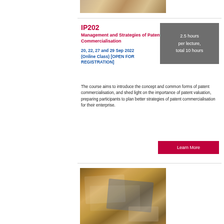[Figure (photo): Partial view of documents/papers on a desk, top portion cropped]
IP202
Management and Strategies of Patent Commercialisation
20, 22, 27 and 29 Sep 2022 (Online Class) [OPEN FOR REGISTRATION]
2.5 hours per lecture, total 10 hours
The course aims to introduce the concept and common forms of patent commercialisation, and shed light on the importance of patent valuation, preparing participants to plan better strategies of patent commercialisation for their enterprise.
Learn More
[Figure (photo): People working at a desk with a laptop, notebooks, and documents]